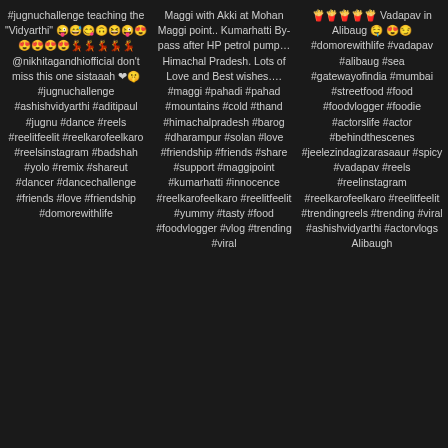#jugnuchallenge teaching the "Vidyarthi" 😜😅😋🙃😆😜😍😍😍😍😍💃💃💃💃💃 @nikhitagandhiofficial don't miss this one sistaaah ❤🤫 #jugnuchallenge #ashishvidyarthi #aditipaul #jugnu #dance #reels #reelitfeelit #reelkarofeelkaro #reelsinstagram #badshah #yolo #remix #shareut #dancer #dancechallenge #friends #love #friendship #domorewithlife
Maggi with Akki at Mohan Maggi point.. Kumarhatti By-pass after HP petrol pump… Himachal Pradesh. Lots of Love and Best wishes…. #maggi #pahadi #pahad #mountains #cold #thand #himachalpradesh #barog #dharampur #solan #love #friendship #friends #share #support #maggipoint #kumarhatti #innocence #reelkarofeelkaro #reelitfeelit #yummy #tasty #food #foodvlogger #vlog #trending #viral
🍟🍟🍟🍟🍟 Vadapav in Alibaug 🤤 😍😏 #domorewithlife #vadapav #alibaug #sea #gatewayofindia #mumbai #streetfood #food #foodvlogger #foodie #actorslife #actor #behindthescenes #jeelezindagizarasaaur #spicy #vadapav #reels #reelinstagram #reelkarofeelkaro #reelitfeelit #trendingreels #trending #viral #ashishvidyarthi #actorvlogs Alibaugh